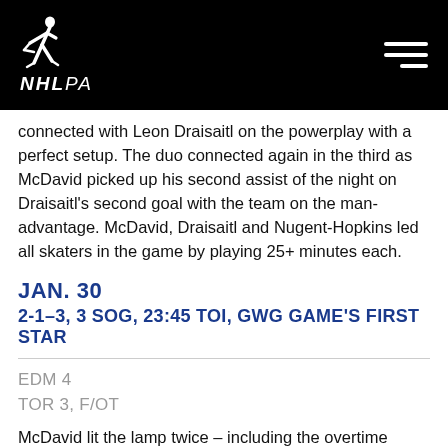[Figure (logo): NHLPA logo with hockey player silhouette and NHLPA text on black background header bar]
connected with Leon Draisaitl on the powerplay with a perfect setup. The duo connected again in the third as McDavid picked up his second assist of the night on Draisaitl's second goal with the team on the man-advantage. McDavid, Draisaitl and Nugent-Hopkins led all skaters in the game by playing 25+ minutes each.
JAN. 30
2-1–3, 3 SOG, 23:45 TOI, GWG GAME'S FIRST STAR
EDM 4
TOR 3, F/OT
McDavid lit the lamp twice – including the overtime winner – as the Oilers got back on track with a 4-3 victory over the Maple Leafs at Rogers Place Saturday night.